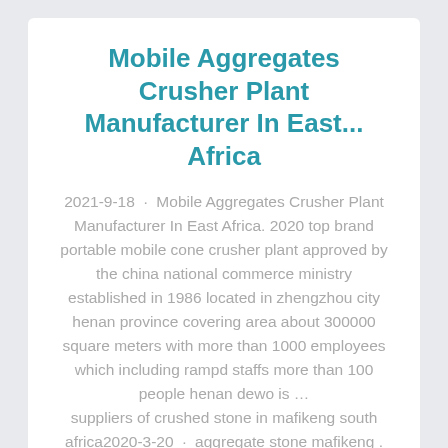Mobile Aggregates Crusher Plant Manufacturer In East... Africa
2021-9-18 · Mobile Aggregates Crusher Plant Manufacturer In East Africa. 2020 top brand portable mobile cone crusher plant approved by the china national commerce ministry established in 1986 located in zhengzhou city henan province covering area about 300000 square meters with more than 1000 employees which including rampd staffs more than 100 people henan dewo is … suppliers of crushed stone in mafikeng south africa2020-3-20 · aggregate stone mafikeng . Suppliers Of Crushed Stone In Mafikeng South Africa sand classifier for sale pet raw materialx Crusher Machine ball mill plant for dolomite processing zimbabwe .… crusher stone supplier in mafikeng 16 Apr 2016 Sou